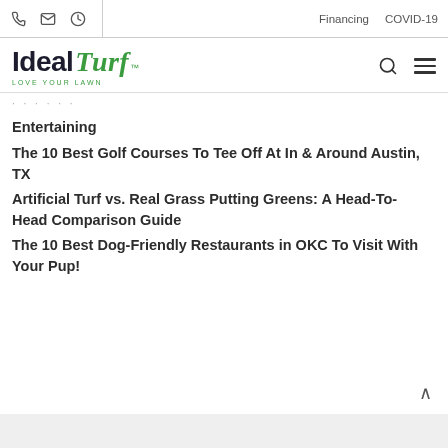Financing  COVID-19
[Figure (logo): Ideal Turf logo with 'LOVE YOUR LAWN' tagline]
Entertaining
The 10 Best Golf Courses To Tee Off At In & Around Austin, TX
Artificial Turf vs. Real Grass Putting Greens: A Head-To-Head Comparison Guide
The 10 Best Dog-Friendly Restaurants in OKC To Visit With Your Pup!